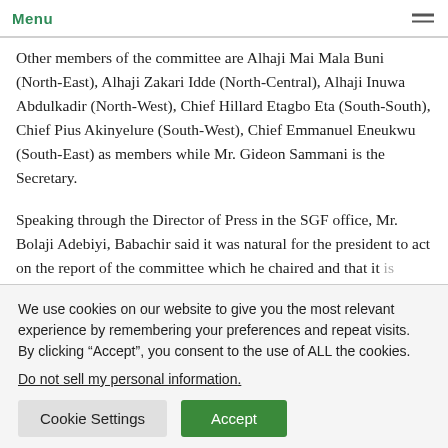Menu
Other members of the committee are Alhaji Mai Mala Buni (North-East), Alhaji Zakari Idde (North-Central), Alhaji Inuwa Abdulkadir (North-West), Chief Hillard Etagbo Eta (South-South), Chief Pius Akinyelure (South-West), Chief Emmanuel Eneukwu (South-East) as members while Mr. Gideon Sammani is the Secretary.
Speaking through the Director of Press in the SGF office, Mr. Bolaji Adebiyi, Babachir said it was natural for the president to act on the report of the committee which he chaired and that it is impracticable for him to still be the one to implement the
We use cookies on our website to give you the most relevant experience by remembering your preferences and repeat visits. By clicking “Accept”, you consent to the use of ALL the cookies.
Do not sell my personal information.